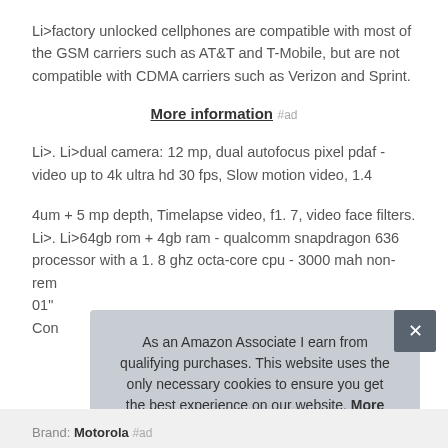Li>factory unlocked cellphones are compatible with most of the GSM carriers such as AT&T and T-Mobile, but are not compatible with CDMA carriers such as Verizon and Sprint.
More information #ad
Li>. Li>dual camera: 12 mp, dual autofocus pixel pdaf - video up to 4k ultra hd 30 fps, Slow motion video, 1.4
4um + 5 mp depth, Timelapse video, f1. 7, video face filters. Li>. Li>64gb rom + 4gb ram - qualcomm snapdragon 636 processor with a 1. 8 ghz octa-core cpu - 3000 mah non-rem 01" Con
As an Amazon Associate I earn from qualifying purchases. This website uses the only necessary cookies to ensure you get the best experience on our website. More information
Brand: Motorola